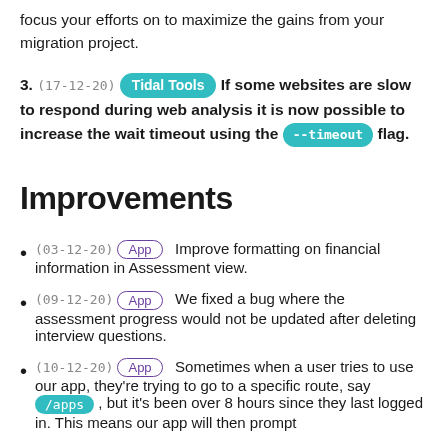focus your efforts on to maximize the gains from your migration project.
3. (17-12-20) [Tidal Tools] If some websites are slow to respond during web analysis it is now possible to increase the wait timeout using the [--timeout] flag.
Improvements
(03-12-20) [App] Improve formatting on financial information in Assessment view.
(09-12-20) [App] We fixed a bug where the assessment progress would not be updated after deleting interview questions.
(10-12-20) [App] Sometimes when a user tries to use our app, they're trying to go to a specific route, say [/apps] , but it's been over 8 hours since they last logged in. This means our app will then prompt